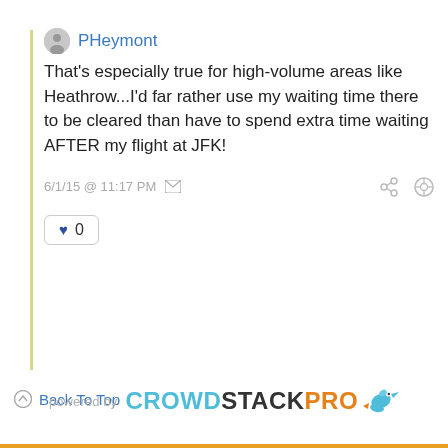PHeymont
That's especially true for high-volume areas like Heathrow...I'd far rather use my waiting time there to be cleared than have to spend extra time waiting AFTER my flight at JFK!
6/1/15 @ 11:17 PM
♥ 0
Back To Top
powered by CROWDSTACKPRO